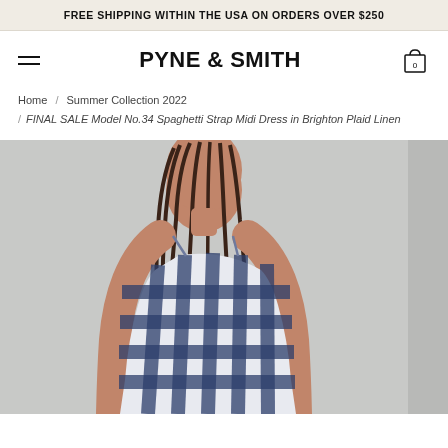FREE SHIPPING WITHIN THE USA ON ORDERS OVER $250
PYNE & SMITH
Home / Summer Collection 2022 / FINAL SALE Model No.34 Spaghetti Strap Midi Dress in Brighton Plaid Linen
[Figure (photo): Model wearing a navy and white plaid spaghetti strap midi dress, photographed from mid-torso up against a light grey background. Model has braided hair and looks downward.]